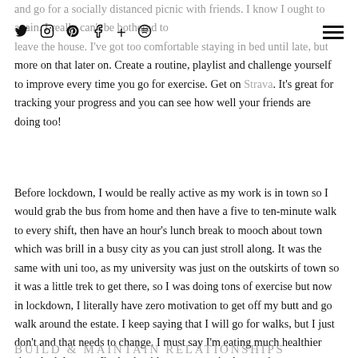Social media nav icons: Twitter, Instagram, Pinterest, Facebook, Plus, Spotify | Hamburger menu
and go for a socially distanced picnic with friends. I know I ought to [nav icons] again. I really can't be bothered to leave the house. I've got too comfortable staying in bed until late, but more on that later on. Create a routine, playlist and challenge yourself to improve every time you go for exercise. Get on Strava. It's great for tracking your progress and you can see how well your friends are doing too!
Before lockdown, I would be really active as my work is in town so I would grab the bus from home and then have a five to ten-minute walk to every shift, then have an hour's lunch break to mooch about town which was brill in a busy city as you can just stroll along. It was the same with uni too, as my university was just on the outskirts of town so it was a little trek to get there, so I was doing tons of exercise but now in lockdown, I literally have zero motivation to get off my butt and go walk around the estate. I keep saying that I will go for walks, but I just don't and that needs to change. I must say I'm eating much healthier since lockdown as I'm back with my parents in the evenings.
BUILD & MAINTAIN RELATIONSHIPS